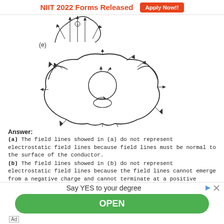NIIT 2022 Forms Released   Apply Now!!
[Figure (illustration): Diagram (e): electrostatic field lines diagram showing a large irregular conductor shape with arrows indicating field lines radiating outward, and a circular cavity inside with an elliptical charge inside.]
(e)
Answer:
(a) The field lines showed in (a) do not represent electrostatic field lines because field lines must be normal to the surface of the conductor.
(b) The field lines showed in (b) do not represent electrostatic field lines because the field lines cannot emerge from a negative charge and cannot terminate at a positive charge.
(c) The field lines showed in (c) represent electrostatic field lines. This is because the field lines emerge from the positive charges and repel each other.
(d) The field lines showed in (d) do not represent electrostatic field lines because the field lines should not intersect each other.
(e) The field lines showed in (e) do not represent electrostatic field lines because
[Figure (infographic): Advertisement banner: Say YES to your degree, with OPEN button and Ad label.]